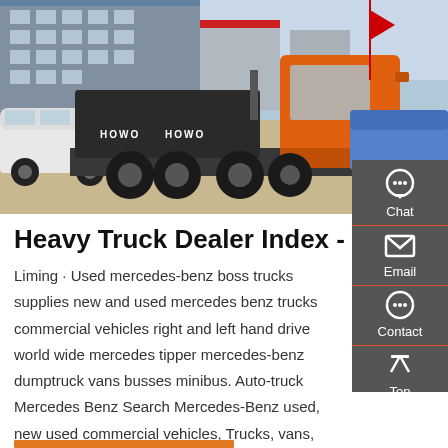[Figure (photo): Orange HOWO heavy truck (tractor unit) photographed from the rear-side at a dealership lot, with white SUVs and buildings visible in the background. The truck has visible rear axles, large tires, and HOWO branding.]
Heavy Truck Dealer Index - MVDN
Liming · Used mercedes-benz boss trucks supplies new and used mercedes benz trucks commercial vehicles right and left hand drive world wide mercedes tipper mercedes-benz dumptruck vans busses minibus. Auto-truck Mercedes Benz Search Mercedes-Benz used, new used commercial vehicles, Trucks, vans, buses, heavy-vehicles,